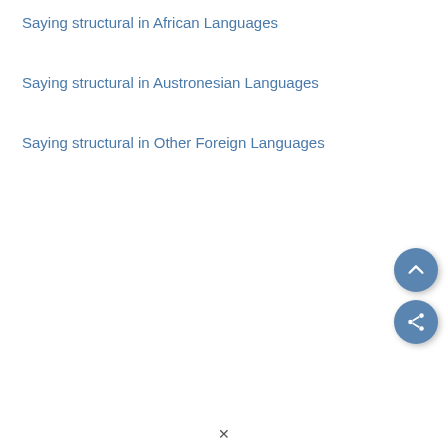Saying structural in African Languages
Saying structural in Austronesian Languages
Saying structural in Other Foreign Languages
[Figure (other): Two circular UI buttons: an upward chevron (scroll to top) button and a share button, both in steel blue color]